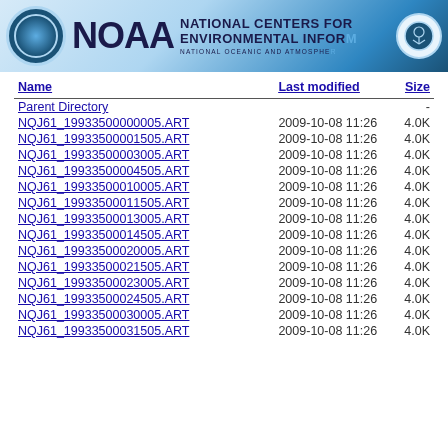[Figure (logo): NOAA National Centers for Environmental Information header banner with NOAA circular logo on left, large NOAA text, NCEI title text, and decorative circle on right, blue gradient background]
| Name | Last modified | Size |
| --- | --- | --- |
| Parent Directory |  | - |
| NQJ61_19933500000005.ART | 2009-10-08 11:26 | 4.0K |
| NQJ61_19933500001505.ART | 2009-10-08 11:26 | 4.0K |
| NQJ61_19933500003005.ART | 2009-10-08 11:26 | 4.0K |
| NQJ61_19933500004505.ART | 2009-10-08 11:26 | 4.0K |
| NQJ61_19933500010005.ART | 2009-10-08 11:26 | 4.0K |
| NQJ61_19933500011505.ART | 2009-10-08 11:26 | 4.0K |
| NQJ61_19933500013005.ART | 2009-10-08 11:26 | 4.0K |
| NQJ61_19933500014505.ART | 2009-10-08 11:26 | 4.0K |
| NQJ61_19933500020005.ART | 2009-10-08 11:26 | 4.0K |
| NQJ61_19933500021505.ART | 2009-10-08 11:26 | 4.0K |
| NQJ61_19933500023005.ART | 2009-10-08 11:26 | 4.0K |
| NQJ61_19933500024505.ART | 2009-10-08 11:26 | 4.0K |
| NQJ61_19933500030005.ART | 2009-10-08 11:26 | 4.0K |
| NQJ61_19933500031505.ART | 2009-10-08 11:26 | 4.0K |